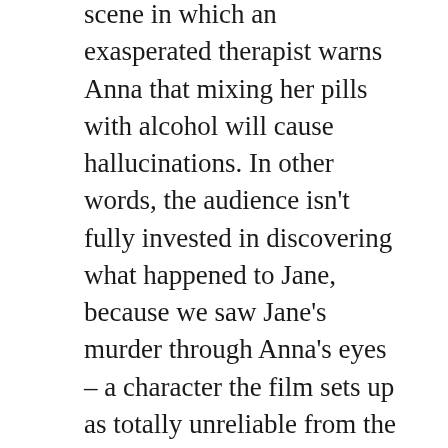scene in which an exasperated therapist warns Anna that mixing her pills with alcohol will cause hallucinations. In other words, the audience isn't fully invested in discovering what happened to Jane, because we saw Jane's murder through Anna's eyes – a character the film sets up as totally unreliable from the start.
Every protagonist needs a flaw, but when it comes to murder mystery the audience must 100% believe the murder happened.
Contrast Anna's flaws in The Woman in the Window with those of Angela Childs' in Steven Soderbergh's new film KIMI. Angela (played by Zoë Kravitz) is by no means a picture of perfect